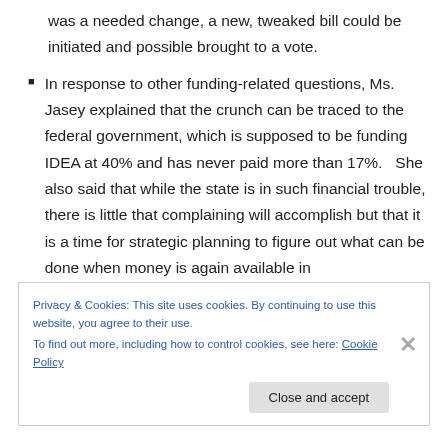was a needed change, a new, tweaked bill could be initiated and possible brought to a vote.
In response to other funding-related questions, Ms. Jasey explained that the crunch can be traced to the federal government, which is supposed to be funding IDEA at 40% and has never paid more than 17%.   She also said that while the state is in such financial trouble, there is little that complaining will accomplish but that it is a time for strategic planning to figure out what can be done when money is again available in
Privacy & Cookies: This site uses cookies. By continuing to use this website, you agree to their use.
To find out more, including how to control cookies, see here: Cookie Policy